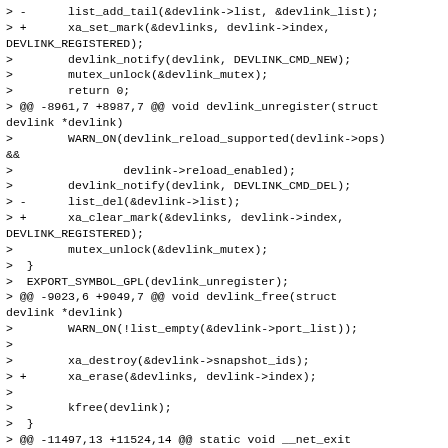> -      list_add_tail(&devlink->list, &devlink_list);
> +      xa_set_mark(&devlinks, devlink->index,
DEVLINK_REGISTERED);
>        devlink_notify(devlink, DEVLINK_CMD_NEW);
>        mutex_unlock(&devlink_mutex);
>        return 0;
> @@ -8961,7 +8987,7 @@ void devlink_unregister(struct devlink *devlink)
>        WARN_ON(devlink_reload_supported(devlink->ops) &&
>                devlink->reload_enabled);
>        devlink_notify(devlink, DEVLINK_CMD_DEL);
> -      list_del(&devlink->list);
> +      xa_clear_mark(&devlinks, devlink->index,
DEVLINK_REGISTERED);
>        mutex_unlock(&devlink_mutex);
>  }
>  EXPORT_SYMBOL_GPL(devlink_unregister);
> @@ -9023,6 +9049,7 @@ void devlink_free(struct devlink *devlink)
>        WARN_ON(!list_empty(&devlink->port_list));
> 
>        xa_destroy(&devlink->snapshot_ids);
> +      xa_erase(&devlinks, devlink->index);
> 
>        kfree(devlink);
>  }
> @@ -11497,13 +11524,14 @@ static void __net_exit
> devlink_pernet_pre_exit(struct net *net)
>  {